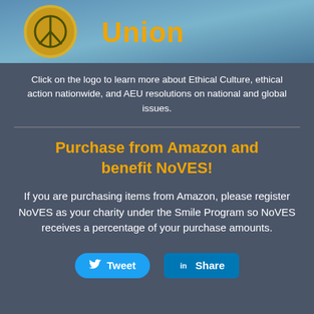[Figure (illustration): Banner image with AEU (American Ethical Union) logo — a golden circular emblem on a blue background — and the word 'Union' in orange/gold text on the right.]
Click on the logo to learn more about Ethical Culture, ethical action nationwide, and AEU resolutions on national and global issues.
Purchase from Amazon and benefit NoVES!
If you are purchasing items from Amazon, please register NoVES as your charity under the Smile Program so NoVES receives a percentage of your purchase amounts.
[Figure (other): Two social media buttons: a blue rounded Twitter 'Tweet' button and a blue square LinkedIn 'Share' button.]